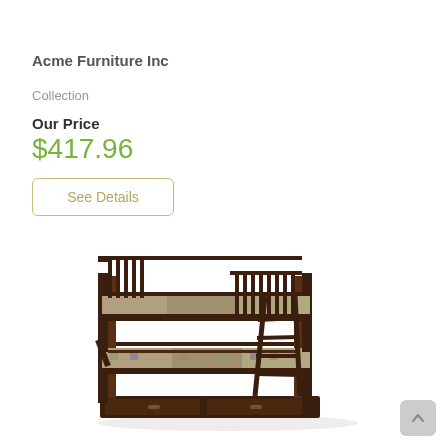Acme Furniture Inc
Collection
Our Price
$417.96
See Details
[Figure (photo): Dark espresso wood bunk bed with twin over full configuration, ladder on the right side, patterned bedding on the lower bunk, and storage drawers underneath.]